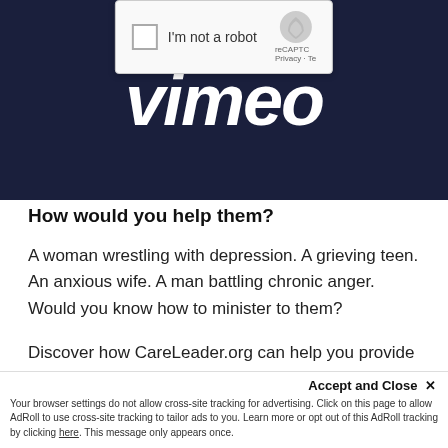[Figure (screenshot): Screenshot of a webpage showing a reCAPTCHA 'I'm not a robot' checkbox overlay on a dark navy Vimeo logo background]
How would you help them?
A woman wrestling with depression. A grieving teen. An anxious wife. A man battling chronic anger. Would you know how to minister to them?
Discover how CareLeader.org can help you provide biblical and compassionate pastoral care for struggling and hurting people in your church.
Accept and Close ✕
Your browser settings do not allow cross-site tracking for advertising. Click on this page to allow AdRoll to use cross-site tracking to tailor ads to you. Learn more or opt out of this AdRoll tracking by clicking here. This message only appears once.